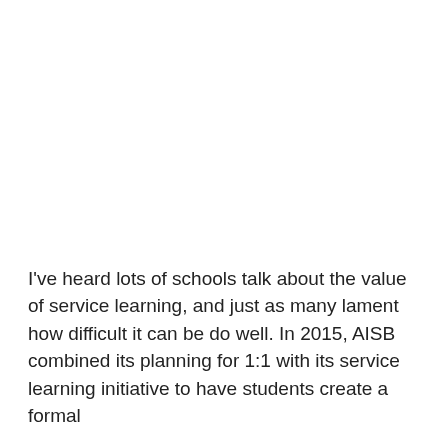I've heard lots of schools talk about the value of service learning, and just as many lament how difficult it can be do well. In 2015, AISB combined its planning for 1:1 with its service learning initiative to have students create a formal